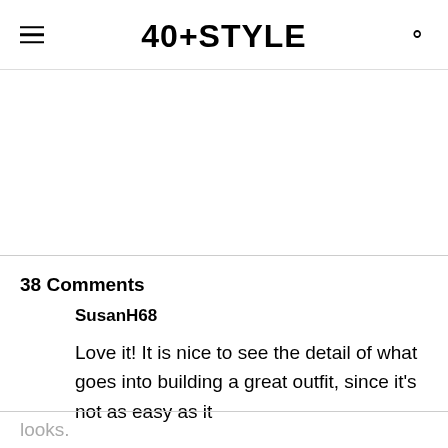40+STYLE
38 Comments
SusanH68
Love it! It is nice to see the detail of what goes into building a great outfit, since it's not as easy as it looks.